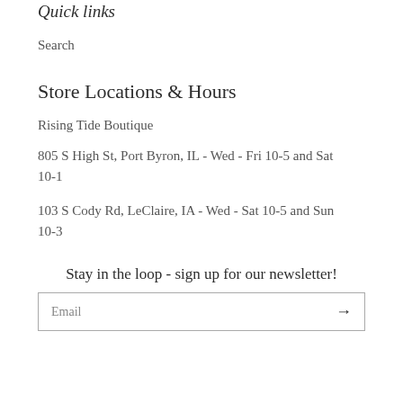Quick links
Search
Store Locations & Hours
Rising Tide Boutique
805 S High St, Port Byron, IL - Wed - Fri 10-5 and Sat 10-1
103 S Cody Rd, LeClaire, IA - Wed - Sat 10-5 and Sun 10-3
Stay in the loop - sign up for our newsletter!
Email →